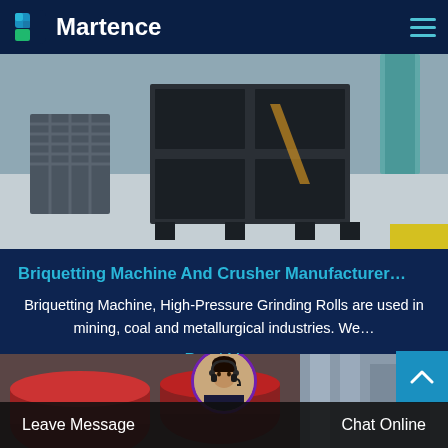Martence
[Figure (photo): Industrial metal machine/equipment frames or containers on a factory floor]
Briquetting Machine And Crusher Manufacturer…
Briquetting Machine, High-Pressure Grinding Rolls are used in mining, coal and metallurgical industries. We…
Read More
[Figure (photo): Industrial facility with large red cylindrical machinery, partially visible]
Leave Message  Chat Online